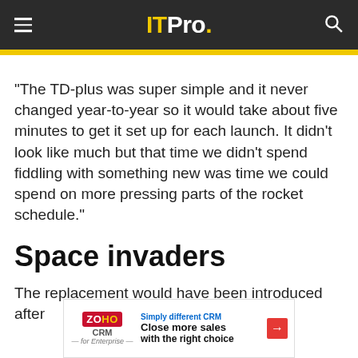ITPro.
“The TD-plus was super simple and it never changed year-to-year so it would take about five minutes to get it set up for each launch. It didn’t look like much but that time we didn’t spend fiddling with something new was time we could spend on more pressing parts of the rocket schedule.”
Space invaders
The replacement would have been introduced after
[Figure (other): Zoho CRM advertisement banner: Simply different CRM. Close more sales with the right choice.]